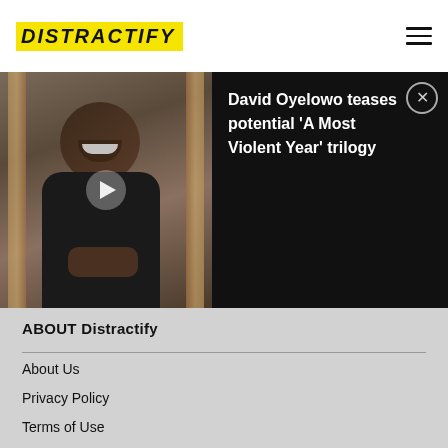DISTRACTIFY
[Figure (screenshot): Video player showing a man in a black shirt smiling, with a play button overlay. Adjacent black panel shows text: David Oyelowo teases potential 'A Most Violent Year' trilogy with a close button.]
ABOUT Distractify
About Us
Privacy Policy
Terms of Use
DMCA
Sitemap
CONNECT with Distractify
[Figure (illustration): Social media icons: Facebook, Twitter/X, Instagram, Email]